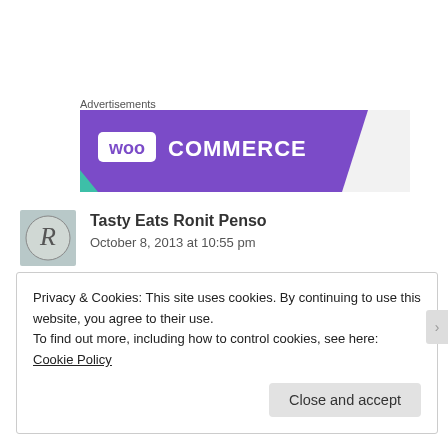Advertisements
[Figure (logo): WooCommerce advertisement banner with purple background and white logo text]
Tasty Eats Ronit Penso
October 8, 2013 at 10:55 pm
Privacy & Cookies: This site uses cookies. By continuing to use this website, you agree to their use.
To find out more, including how to control cookies, see here: Cookie Policy